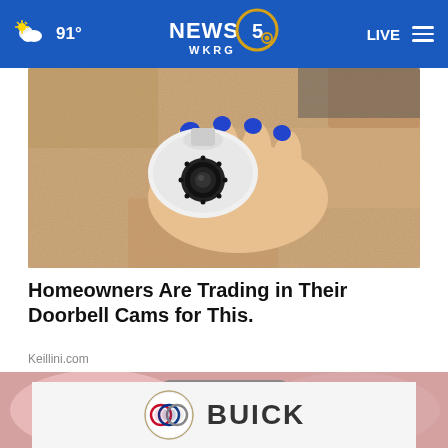91° NEWS 5 WKRG LIVE
[Figure (photo): A hand with blue painted nails holding a white dome security camera against a sandy/stone textured wall]
Homeowners Are Trading in Their Doorbell Cams for This.
Keillini.com
[Figure (photo): A hand holding a small metallic camera device, with a Buick advertisement overlay at the bottom]
[Figure (logo): Buick logo with text BUICK]